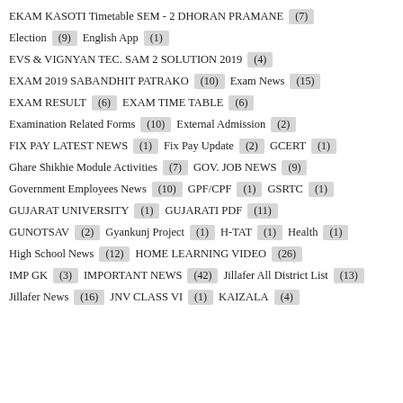EKAM KASOTI Timetable SEM - 2 DHORAN PRAMANE (7)
Election (9)
English App (1)
EVS & VIGNYAN TEC. SAM 2 SOLUTION 2019 (4)
EXAM 2019 SABANDHIT PATRAKO (10)
Exam News (15)
EXAM RESULT (6)
EXAM TIME TABLE (6)
Examination Related Forms (10)
External Admission (2)
FIX PAY LATEST NEWS (1)
Fix Pay Update (2)
GCERT (1)
Ghare Shikhie Module Activities (7)
GOV. JOB NEWS (9)
Government Employees News (10)
GPF/CPF (1)
GSRTC (1)
GUJARAT UNIVERSITY (1)
GUJARATI PDF (11)
GUNOTSAV (2)
Gyankunj Project (1)
H-TAT (1)
Health (1)
High School News (12)
HOME LEARNING VIDEO (26)
IMP GK (3)
IMPORTANT NEWS (42)
Jillafer All District List (13)
Jillafer News (16)
JNV CLASS VI (1)
KAIZALA (4)